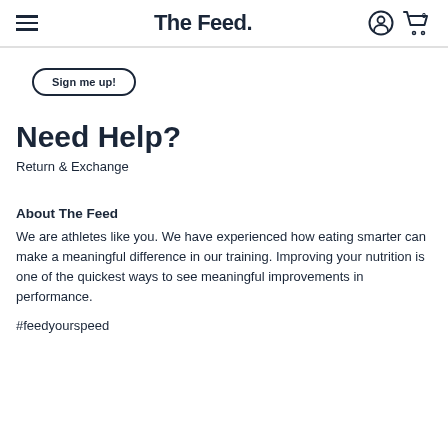The Feed.
Sign me up!
Need Help?
Return & Exchange
About The Feed
We are athletes like you. We have experienced how eating smarter can make a meaningful difference in our training. Improving your nutrition is one of the quickest ways to see meaningful improvements in performance.
#feedyourspeed